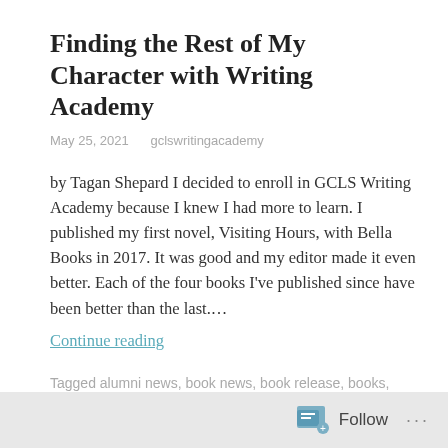Finding the Rest of My Character with Writing Academy
May 25, 2021    gclswritingacademy
by Tagan Shepard I decided to enroll in GCLS Writing Academy because I knew I had more to learn. I published my first novel, Visiting Hours, with Bella Books in 2017. It was good and my editor made it even better. Each of the four books I've published since have been better than the last.…
Continue reading
Tagged alumni news, book news, book release, books, Guest Blog, Tagan Shepard, Writing Academy, Writing Academy Alumni
Leave a comment
Follow ...